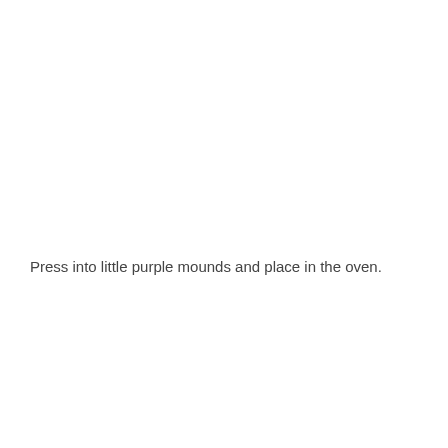Press into little purple mounds and place in the oven.